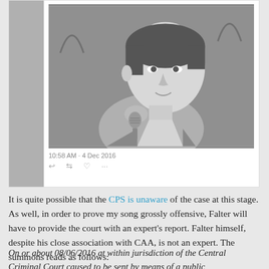[Figure (screenshot): Screenshot of a tweet showing a black and white photo of a man speaking into a microphone at an outdoor event. Below the photo is a timestamp reading '10:58 AM - 4 Dec 2016' and tweet action icons (reply, retweet, like, more).]
It is quite possible that the CPS is unaware of the case at this stage. As well, in order to prove my song grossly offensive, Falter will have to provide the court with an expert's report. Falter himself, despite his close association with CAA, is not an expert. The summons reads as follows:
On or about 08/06/2016 at within jurisdiction of the Central Criminal Court caused to be sent by means of a public